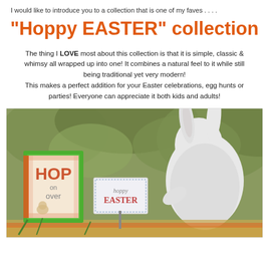I would like to introduce you to a collection that is one of my faves . . . .
"Hoppy EASTER" collection
The thing I LOVE most about this collection is that it is simple, classic & whimsy all wrapped up into one! It combines a natural feel to it while still being traditional yet very modern!
This makes a perfect addition for your Easter celebrations, egg hunts or parties! Everyone can appreciate it both kids and adults!
[Figure (photo): Easter-themed decorations including a green framed sign with 'HOP on over' and a 'hoppy EASTER' sign, with a white ceramic bunny figurine in the background against a leafy outdoor setting.]